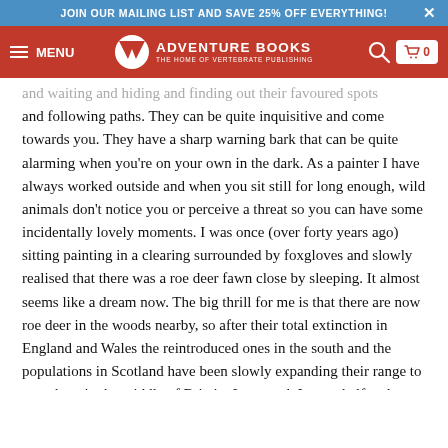JOIN OUR MAILING LIST AND SAVE 25% OFF EVERYTHING!
ADVENTURE BOOKS — THE HOME OF VERTEBRATE PUBLISHING — MENU
and waiting and hiding and finding out their favoured spots and following paths. They can be quite inquisitive and come towards you. They have a sharp warning bark that can be quite alarming when you're on your own in the dark. As a painter I have always worked outside and when you sit still for long enough, wild animals don't notice you or perceive a threat so you can have some incidentally lovely moments. I was once (over forty years ago) sitting painting in a clearing surrounded by foxgloves and slowly realised that there was a roe deer fawn close by sleeping. It almost seems like a dream now. The big thrill for me is that there are now roe deer in the woods nearby, so after their total extinction in England and Wales the reintroduced ones in the south and the populations in Scotland have been slowly expanding their range to meet here in the middle of Britain. Last week I spent half an hour watching a family of stoats playing peepo in a woodpile. The more you are out, the more you see and the more you see the more addicted you become. I've spent thirty years trying to